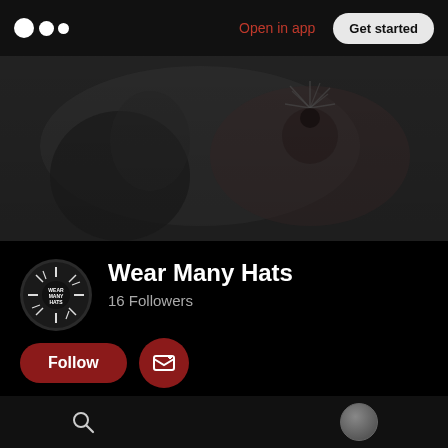Medium logo | Open in app | Get started
[Figure (photo): Dark grayscale hero banner image showing blurred figures and a flower/plant against dark background]
[Figure (photo): Circular profile avatar for Wear Many Hats publication with circular text logo]
Wear Many Hats
16 Followers
Follow
Home
Search icon | User avatar